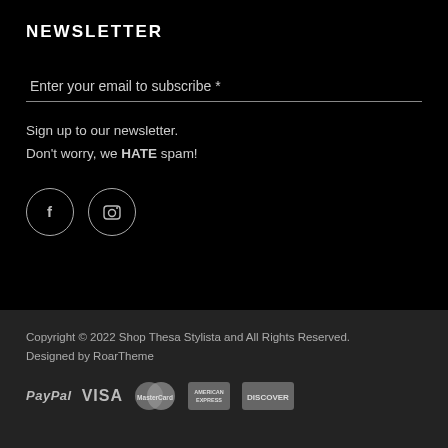NEWSLETTER
Enter your email to subscribe *
Sign up to our newsletter.
Don't worry, we HATE spam!
[Figure (illustration): Two social media icon circles: Facebook (f) and Instagram (camera icon)]
Copyright © 2022 Shop Thesa Stylista and All Rights Reserved.
Designed by RoarTheme
[Figure (illustration): Payment method logos: PayPal, VISA, MasterCard, American Express, Discover]